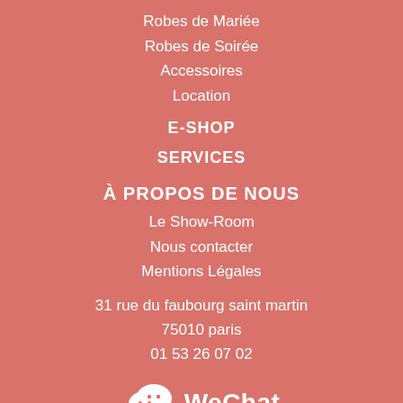Robes de Mariée
Robes de Soirée
Accessoires
Location
E-SHOP
SERVICES
À PROPOS DE NOUS
Le Show-Room
Nous contacter
Mentions Légales
31 rue du faubourg saint martin
75010 paris
01 53 26 07 02
[Figure (logo): WeChat logo with two overlapping speech bubble icons followed by the text 'WeChat' in white]